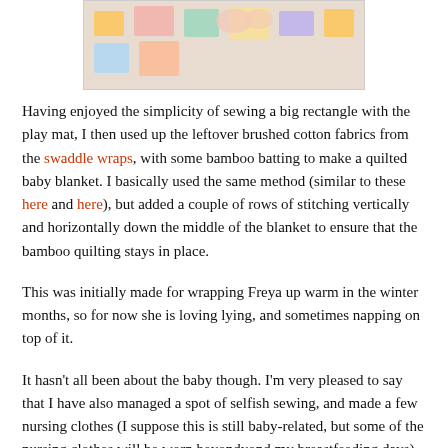[Figure (photo): Partial photo of a baby lying on a patterned fabric/play mat, shown cropped at the top of the page.]
Having enjoyed the simplicity of sewing a big rectangle with the play mat, I then used up the leftover brushed cotton fabrics from the swaddle wraps, with some bamboo batting to make a quilted baby blanket. I basically used the same method (similar to these here and here), but added a couple of rows of stitching vertically and horizontally down the middle of the blanket to ensure that the bamboo quilting stays in place.
This was initially made for wrapping Freya up warm in the winter months, so for now she is loving lying, and sometimes napping on top of it.
It hasn't all been about the baby though. I'm very pleased to say that I have also managed a spot of selfish sewing, and made a few nursing clothes (I suppose this is still baby-related, but some of the nursing clothes will be worn beyondyond my breastfeeding days). Stay tuned and I'll be